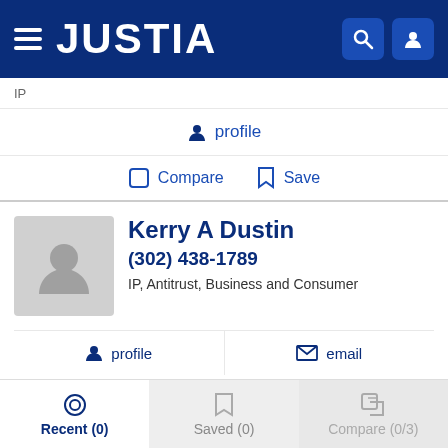JUSTIA
IP
profile
Compare  Save
Kerry A Dustin
(302) 438-1789
IP, Antitrust, Business and Consumer
profile  email
Compare  Save
Raymond Scott
Recent (0)  Saved (0)  Compare (0/3)